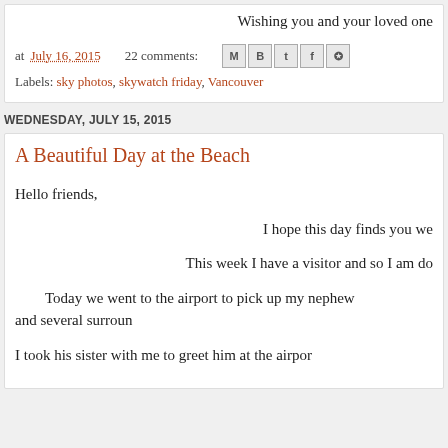Wishing you and your loved one
at July 16, 2015   22 comments:
Labels: sky photos, skywatch friday, Vancouver
WEDNESDAY, JULY 15, 2015
A Beautiful Day at the Beach
Hello friends,

I hope this day finds you we

This week I have a visitor and so I am do

Today we went to the airport to pick up my nephew and several surroun

I took his sister with me to greet him at the airpor